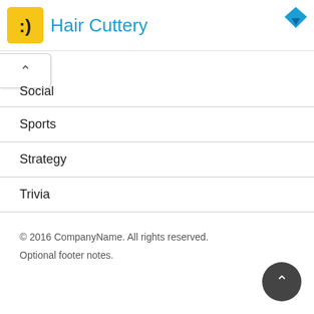Hair Cuttery
Social
Sports
Strategy
Trivia
Uncategorized
Word
© 2016 CompanyName. All rights reserved.
Optional footer notes.